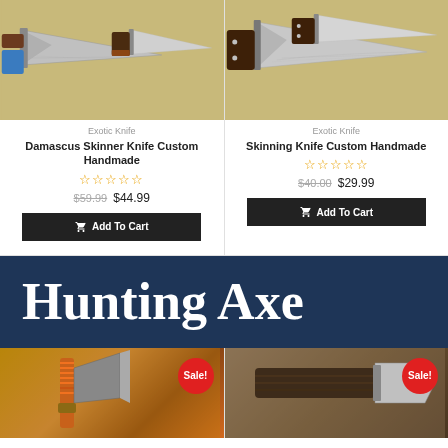[Figure (photo): Damascus Skinner Knife Custom Handmade product photo showing knife with blue and wood handle on tan background]
Exotic Knife
Damascus Skinner Knife Custom Handmade
★★★★★ (rating stars)
$59.99 $44.99
Add To Cart
[Figure (photo): Skinning Knife Custom Handmade product photo showing knife with dark wood handle on tan background]
Exotic Knife
Skinning Knife Custom Handmade
★★★★★ (rating stars)
$40.00 $29.99
Add To Cart
Hunting Axe
[Figure (photo): Hunting axe product photo with orange paracord wrap handle, Sale badge shown]
[Figure (photo): Hunting axe product photo with dark wood handle, Sale badge shown]